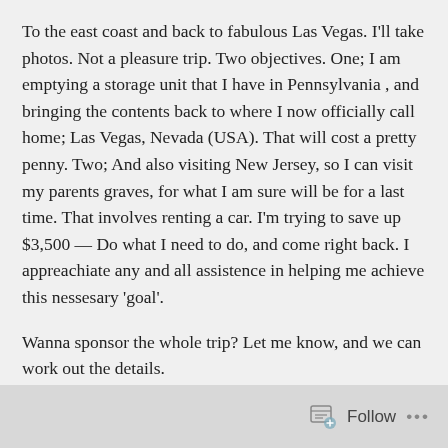To the east coast and back to fabulous Las Vegas. I'll take photos. Not a pleasure trip. Two objectives. One; I am emptying a storage unit that I have in Pennsylvania , and bringing the contents back to where I now officially call home; Las Vegas, Nevada (USA). That will cost a pretty penny. Two; And also visiting New Jersey, so I can visit my parents graves, for what I am sure will be for a last time. That involves renting a car. I'm trying to save up $3,500 — Do what I need to do, and come right back. I appreachiate any and all assistence in helping me achieve this nessesary 'goal'.
Wanna sponsor the whole trip? Let me know, and we can work out the details.
To contribute, please use this safe and VERY secure PayPal link:
paypal.me/GBrown0816
Follow ...